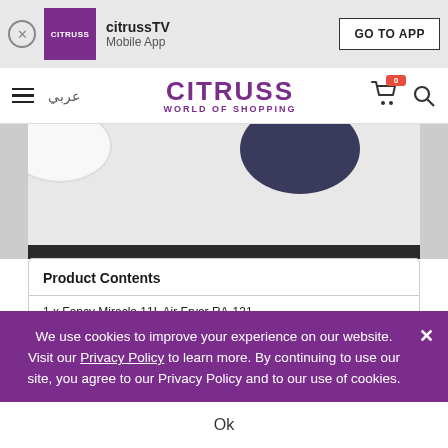citrussTV Mobile App — GO TO APP
CITRUSS WORLD OF SHOPPING
[Figure (photo): Product photo area showing a plate and dark bowl on a tiled surface with a dark stripe at the bottom]
Product Contents
1 x Fancy Miracle 11L Air Fryer RA-131
1 x Tong   1 x Steak Cage
We use cookies to improve your experience on our website. Visit our Privacy Policy to learn more. By continuing to use our site, you agree to our Privacy Policy and to our use of cookies.
Ok